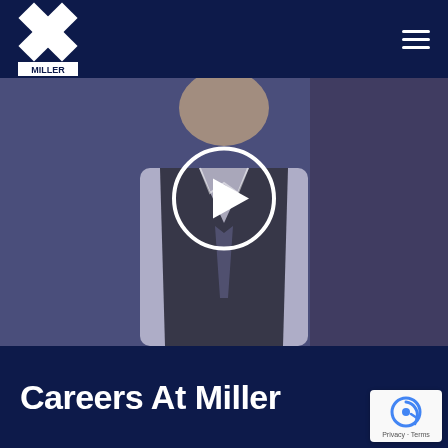[Figure (logo): Miller company logo: white checkerboard diamond pattern on dark navy background with MILLER text below]
[Figure (screenshot): Video thumbnail showing a person wearing a dark vest and tie with a play button overlay circle in the center]
Careers At Miller
[Figure (other): Google reCAPTCHA badge with Privacy and Terms links]